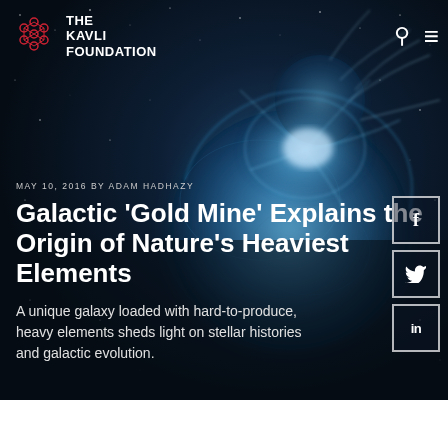THE KAVLI FOUNDATION
MAY 10, 2016 BY ADAM HADHAZY
Galactic 'Gold Mine' Explains the Origin of Nature's Heaviest Elements
A unique galaxy loaded with hard-to-produce, heavy elements sheds light on stellar histories and galactic evolution.
[Figure (illustration): Space illustration showing two celestial bodies colliding or interacting, with bright blue energy and debris against a dark starfield background]
[Figure (other): Facebook share button (f icon in bordered square)]
[Figure (other): Twitter share button (bird icon in bordered square)]
[Figure (other): LinkedIn share button (in icon in bordered square)]